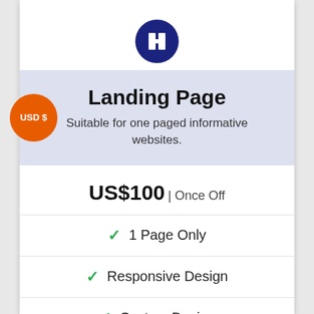[Figure (logo): Dark navy blue circle icon with white letter H or building/home icon]
Landing Page
Suitable for one paged informative websites.
US$100 | Once Off
1 Page Only
Responsive Design
Custom Design